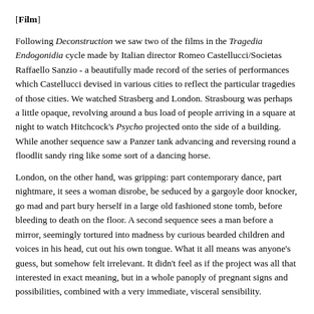[Film]
Following Deconstruction we saw two of the films in the Tragedia Endogonidia cycle made by Italian director Romeo Castellucci/Societas Raffaello Sanzio - a beautifully made record of the series of performances which Castellucci devised in various cities to reflect the particular tragedies of those cities. We watched Strasberg and London. Strasbourg was perhaps a little opaque, revolving around a bus load of people arriving in a square at night to watch Hitchcock's Psycho projected onto the side of a building. While another sequence saw a Panzer tank advancing and reversing round a floodlit sandy ring like some sort of a dancing horse.
London, on the other hand, was gripping: part contemporary dance, part nightmare, it sees a woman disrobe, be seduced by a gargoyle door knocker, go mad and part bury herself in a large old fashioned stone tomb, before bleeding to death on the floor. A second sequence sees a man before a mirror, seemingly tortured into madness by curious bearded children and voices in his head, cut out his own tongue. What it all means was anyone's guess, but somehow felt irrelevant. It didn't feel as if the project was all that interested in exact meaning, but in a whole panoply of pregnant signs and possibilities, combined with a very immediate, visceral sensibility.